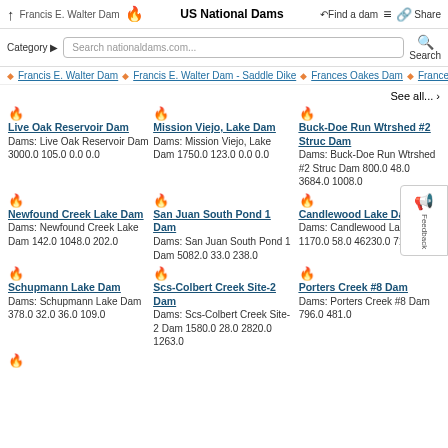Francis E. Walter Dam | US National Dams | Find a dam | Share
Category | Search nationaldams.com... | Search
Francis E. Walter Dam | Francis E. Walter Dam - Saddle Dike | Frances Oakes Dam | Frances ...
See all... >
Live Oak Reservoir Dam
Dams: Live Oak Reservoir Dam 3000.0 105.0 0.0 0.0
Mission Viejo, Lake Dam
Dams: Mission Viejo, Lake Dam 1750.0 123.0 0.0 0.0
Buck-Doe Run Wtrshed #2 Struc Dam
Dams: Buck-Doe Run Wtrshed #2 Struc Dam 800.0 48.0 3684.0 1008.0
Newfound Creek Lake Dam
Dams: Newfound Creek Lake Dam 142.0 1048.0 202.0
San Juan South Pond 1 Dam
Dams: San Juan South Pond 1 Dam 5082.0 33.0 238.0
Candlewood Lake Dam
Dams: Candlewood Lake Dam 1170.0 58.0 46230.0 7125.0
Schupmann Lake Dam
Dams: Schupmann Lake Dam 378.0 32.0 36.0 109.0
Scs-Colbert Creek Site-2 Dam
Dams: Scs-Colbert Creek Site-2 Dam 1580.0 28.0 2820.0 1263.0
Porters Creek #8 Dam
Dams: Porters Creek #8 Dam 796.0 481.0